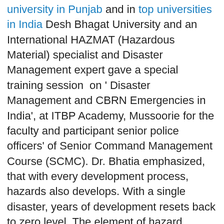university in Punjab and in top universities in India Desh Bhagat University and an International HAZMAT (Hazardous Material) specialist and Disaster Management expert gave a special training session  on ' Disaster Management and CBRN Emergencies in India', at ITBP Academy, Mussoorie for the faculty and participant senior police officers' of Senior Command Management Course (SCMC). Dr. Bhatia emphasized, that with every development process, hazards also develops. With a single disaster, years of development resets back to zero level. The element of hazard mitigation and disaster management should be inculcated in every development process so as to achieve our dream of sustainable development. Dr. Bhatia revealed the threats of Nuclear warfare, Chemical and Biological attacks and how the terrorists' all over the world are moving towards non – conventional attacks. He gave the officers' the tips to develop the counter measures